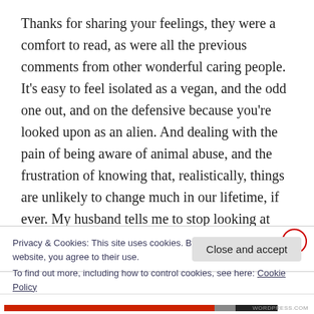Thanks for sharing your feelings, they were a comfort to read, as were all the previous comments from other wonderful caring people. It's easy to feel isolated as a vegan, and the odd one out, and on the defensive because you're looked upon as an alien. And dealing with the pain of being aware of animal abuse, and the frustration of knowing that, realistically, things are unlikely to change much in our lifetime, if ever. My husband tells me to stop looking at
Privacy & Cookies: This site uses cookies. By continuing to use this website, you agree to their use.
To find out more, including how to control cookies, see here: Cookie Policy